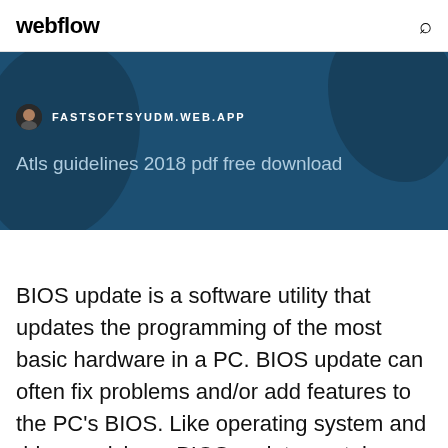webflow
[Figure (screenshot): Hero banner with dark blue teal background showing map silhouettes, a favicon/avatar icon, the URL FASTSOFTSYUDM.WEB.APP in white uppercase, and the subtitle text 'Atls guidelines 2018 pdf free download' in light blue-gray.]
BIOS update is a software utility that updates the programming of the most basic hardware in a PC. BIOS update can often fix problems and/or add features to the PC's BIOS. Like operating system and driver revisions, BIOS update contains feature